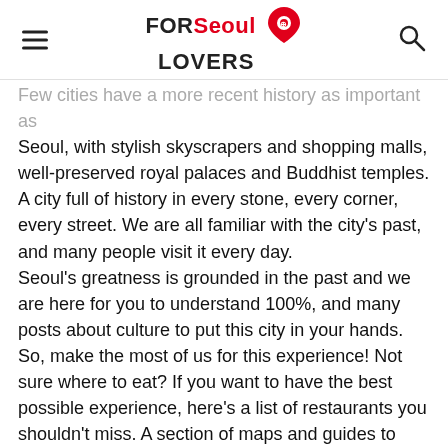FOR Seoul LOVERS
Few cities have a more recent history as important as Seoul, with stylish skyscrapers and shopping malls, well-preserved royal palaces and Buddhist temples. A city full of history in every stone, every corner, every street. We are all familiar with the city's past, and many people visit it every day.
Seoul's greatness is grounded in the past and we are here for you to understand 100%, and many posts about culture to put this city in your hands. So, make the most of us for this experience! Not sure where to eat? If you want to have the best possible experience, here's a list of restaurants you shouldn't miss. A section of maps and guides to save the typical lost you. We also recommend places to stay with information about hotel locations, price packages and reviews.